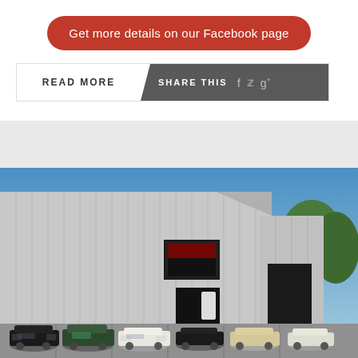Get more details on our Facebook page
READ MORE
SHARE THIS
[Figure (photo): Exterior of a large metal commercial building with classic/vintage Rolls-Royce and luxury cars parked in front, blue sky in background with trees.]